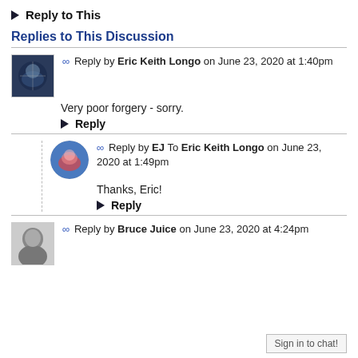▶ Reply to This
Replies to This Discussion
∞ Reply by Eric Keith Longo on June 23, 2020 at 1:40pm
Very poor forgery - sorry.
▶ Reply
∞ Reply by EJ To Eric Keith Longo on June 23, 2020 at 1:49pm
Thanks, Eric!
▶ Reply
∞ Reply by Bruce Juice on June 23, 2020 at 4:24pm
Sign in to chat!